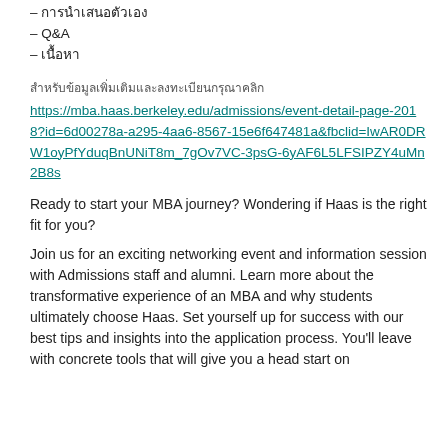– การนำเสนอตัวเอง
– Q&A
– เนื้อหา
สำหรับข้อมูลเพิ่มเติมและลงทะเบียนกรุณาคลิก
https://mba.haas.berkeley.edu/admissions/event-detail-page-2018?id=6d00278a-a295-4aa6-8567-15e6f647481a&fbclid=IwAR0DRW1oyPfYduqBnUNiT8m_7gOv7VC-3psG-6yAF6L5LFSIPZY4uMn2B8s
Ready to start your MBA journey? Wondering if Haas is the right fit for you?
Join us for an exciting networking event and information session with Admissions staff and alumni. Learn more about the transformative experience of an MBA and why students ultimately choose Haas. Set yourself up for success with our best tips and insights into the application process. You'll leave with concrete tools that will give you a head start on